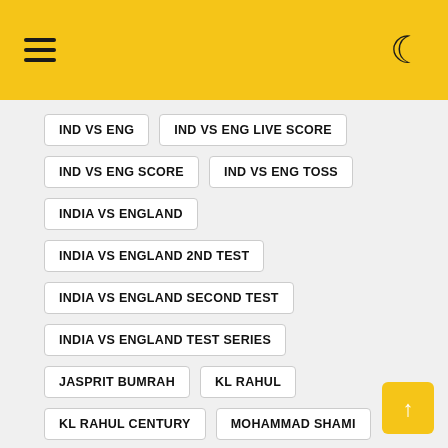Navigation menu with dark mode toggle
IND VS ENG
IND VS ENG LIVE SCORE
IND VS ENG SCORE
IND VS ENG TOSS
INDIA VS ENGLAND
INDIA VS ENGLAND 2ND TEST
INDIA VS ENGLAND SECOND TEST
INDIA VS ENGLAND TEST SERIES
JASPRIT BUMRAH
KL RAHUL
KL RAHUL CENTURY
MOHAMMAD SHAMI
MOHAMMED SIRAJ
VIRAT KOHLI